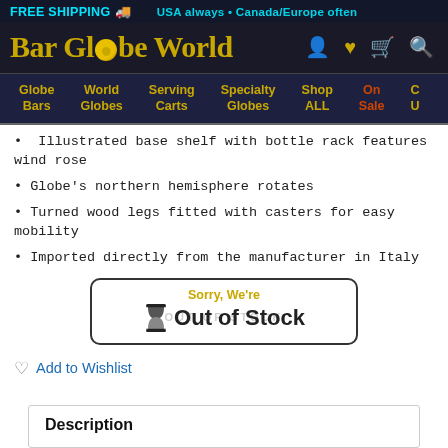FREE SHIPPING  USA always · Canada/Europe often
Bar Globe World
Globe Bars  World Globes  Serving Carts  Specialty Globes  Shop ALL  On Sale  C U
Illustrated base shelf with bottle rack features wind rose
Globe's northern hemisphere rotates
Turned wood legs fitted with casters for easy mobility
Imported directly from the manufacturer in Italy
[Figure (infographic): Out of Stock badge with hourglass icon: Sorry, We're Out of Stock]
Add to Wishlist
Description